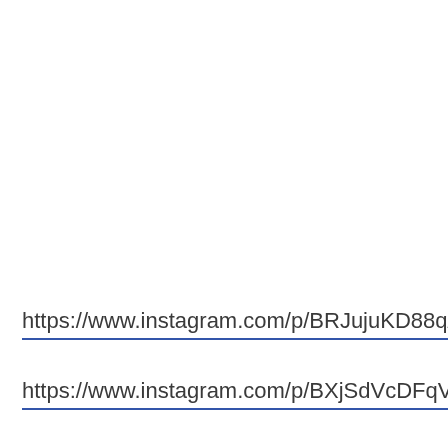https://www.instagram.com/p/BRJujuKD88q/
https://www.instagram.com/p/BXjSdVcDFqV/